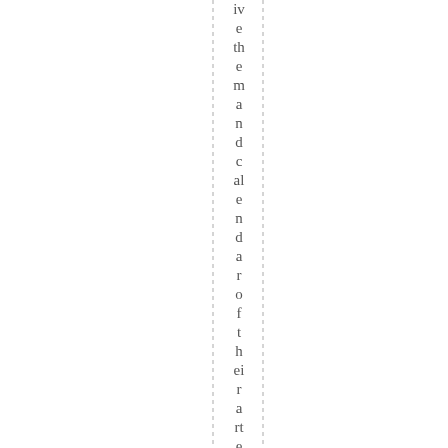ive the mandate calendar of their artery